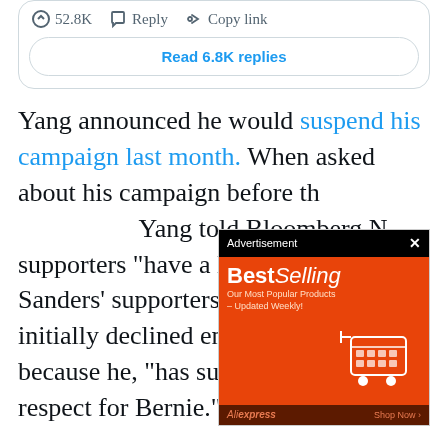[Figure (screenshot): Tweet interaction bar showing 52.8K likes, Reply button, and Copy link button]
Read 6.8K replies
Yang announced he would suspend his campaign last month. When asked about his campaign before th... Yang told Bloomberg N... supporters “have a lot... Sanders’ supporters. H... initially declined endorsing Biden because he, “has such admiration and respect for Bernie.”
[Figure (screenshot): AliExpress advertisement overlay showing BestSelling products with an orange background and shopping cart graphic. Header says Advertisement with X close button. Footer shows AliExpress Shop Now.]